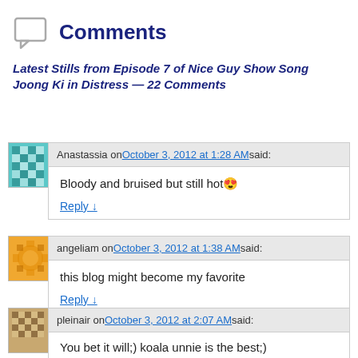Comments
Latest Stills from Episode 7 of Nice Guy Show Song Joong Ki in Distress — 22 Comments
Anastassia on October 3, 2012 at 1:28 AM said:
Bloody and bruised but still hot😍
Reply ↓
angeliam on October 3, 2012 at 1:38 AM said:
this blog might become my favorite
Reply ↓
pleinair on October 3, 2012 at 2:07 AM said:
You bet it will;) koala unnie is the best;)